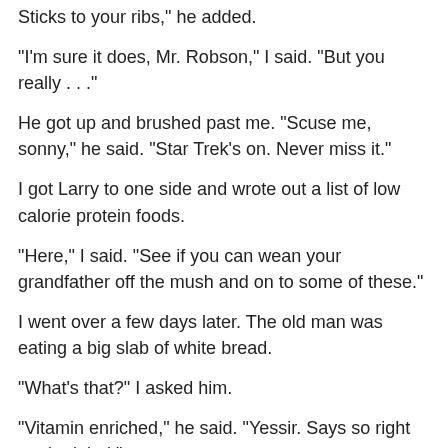Sticks to your ribs," he added.
"I'm sure it does, Mr. Robson," I said. "But you really . . ."
He got up and brushed past me. "Scuse me, sonny," he said. "Star Trek's on. Never miss it."
I got Larry to one side and wrote out a list of low calorie protein foods.
"Here," I said. "See if you can wean your grandfather off the mush and on to some of these."
I went over a few days later. The old man was eating a big slab of white bread.
"What's that?" I asked him.
"Vitamin enriched," he said. "Yessir. Says so right on the label."
I pointed to the bread. "What's that you got on it?"